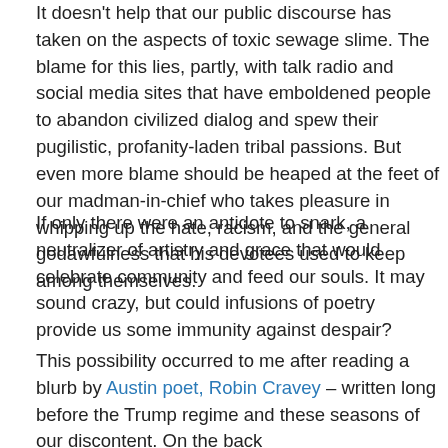It doesn't help that our public discourse has taken on the aspects of toxic sewage slime. The blame for this lies, partly, with talk radio and social media sites that have emboldened people to abandon civilized dialog and spew their pugilistic, profanity-laden tribal passions. But even more blame should be heaped at the feet of our madman-in-chief who takes pleasure in whipping up the hate, racism, and the general godawfulness that his devotees used to keep among themselves.
If only there were an antidote to snark, a neutralizer of artistry and grace that would celebrate community and feed our souls. It may sound crazy, but could infusions of poetry provide us some immunity against despair?
This possibility occurred to me after reading a blurb by Austin poet, Robin Cravey – written long before the Trump regime and these seasons of our discontent. On the back